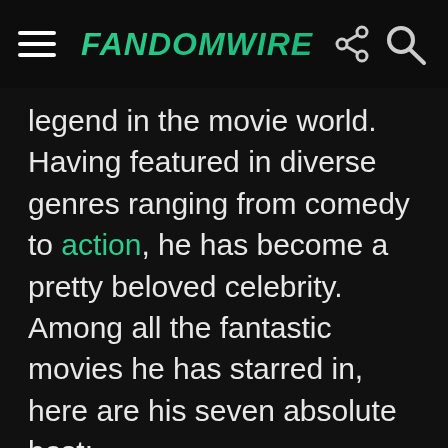FandomWire
legend in the movie world. Having featured in diverse genres ranging from comedy to action, he has become a pretty beloved celebrity. Among all the fantastic movies he has starred in, here are his seven absolute best: